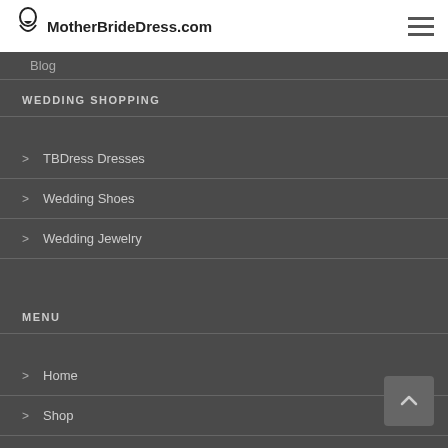MotherBrideDress.com
Blog
WEDDING SHOPPING
TBDress Dresses
Wedding Shoes
Wedding Jewelry
MENU
Home
Shop
Blog